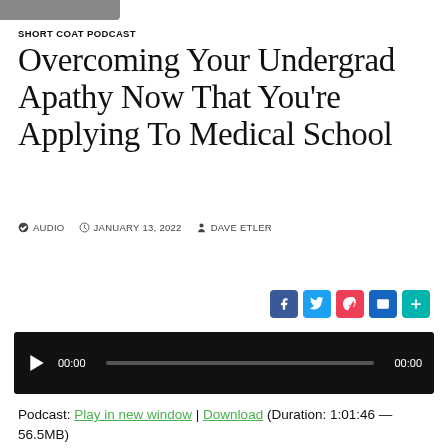SHORT COAT PODCAST
Overcoming Your Undergrad Apathy Now That You're Applying To Medical School
AUDIO  JANUARY 13, 2022  DAVE ETLER
[Figure (screenshot): Social sharing buttons: Facebook, Twitter, Pocket, Email, Plus]
[Figure (screenshot): Audio player with play button, time 00:00, progress bar, and end time 00:00]
Podcast: Play in new window | Download (Duration: 1:01:46 — 56.5MB)